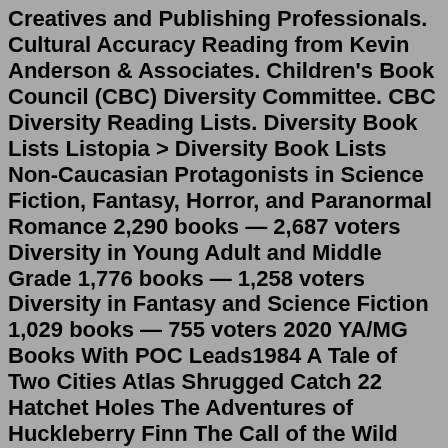Creatives and Publishing Professionals. Cultural Accuracy Reading from Kevin Anderson & Associates. Children's Book Council (CBC) Diversity Committee. CBC Diversity Reading Lists. Diversity Book Lists Listopia > Diversity Book Lists Non-Caucasian Protagonists in Science Fiction, Fantasy, Horror, and Paranormal Romance 2,290 books — 2,687 voters Diversity in Young Adult and Middle Grade 1,776 books — 1,258 voters Diversity in Fantasy and Science Fiction 1,029 books — 755 voters 2020 YA/MG Books With POC Leads1984 A Tale of Two Cities Atlas Shrugged Catch 22 Hatchet Holes The Adventures of Huckleberry Finn The Call of the Wild The Da Vinci Code The Metamorphosis To Kill a Mockingbird Recent Assignments The Call of the Wild by Jack London The Adventures of Huckleberry Finn by Mark Twain The Da Vinci Code by Dan BrownWhile we have hundreds of titles to choose from, here are 10 of our absolute favorite diverse books for preschoolers! 1. Juna and Appa by Jane Park, illustrated by Felicia Hoshino. From the